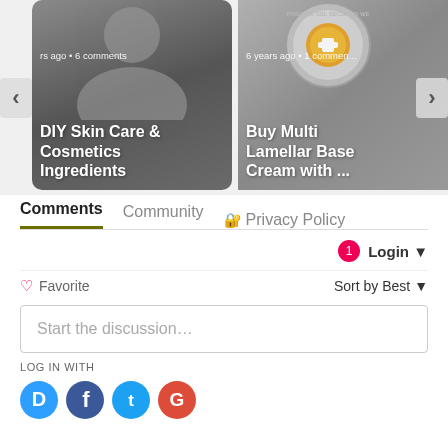[Figure (screenshot): Carousel with two article cards. Left card: gray background with person silhouette, text 'rs ago • 6 comments', title 'DIY Skin Care & Cosmetics Ingredients'. Right card: SSL badge medal background, text '6 years ago • 1 commen...', title 'Buy Multi Lamellar Base Cream with ...'. Navigation arrows on both sides.]
Comments
Community
Privacy Policy
1 Login
♡ Favorite
Sort by Best
Start the discussion…
LOG IN WITH